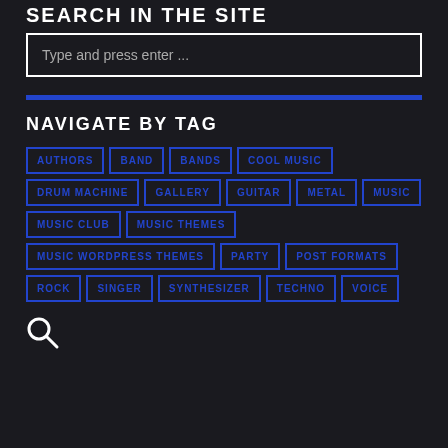SEARCH IN THE SITE
Type and press enter ...
NAVIGATE BY TAG
AUTHORS
BAND
BANDS
COOL MUSIC
DRUM MACHINE
GALLERY
GUITAR
METAL
MUSIC
MUSIC CLUB
MUSIC THEMES
MUSIC WORDPRESS THEMES
PARTY
POST FORMATS
ROCK
SINGER
SYNTHESIZER
TECHNO
VOICE
[Figure (illustration): Search icon (magnifying glass)]